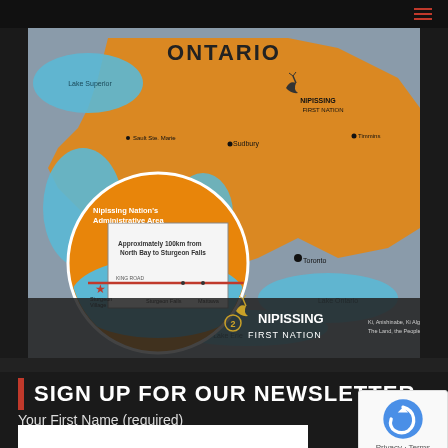[Figure (map): Map of Ontario showing Nipissing First Nation administrative area. Features orange shading for Nipissing Nation territory, blue for water bodies, with a circular inset showing detail of Nipissing Nation's Administrative Area with a red route line from North Bay to Sturgeon Falls. Nipissing First Nation logo visible in lower right of map. Text labels include ONTARIO, Lake Superior, Lake Huron, Sudbury, Toronto, Lake Ontario, Lake Erie, and various local place names.]
SIGN UP FOR OUR NEWSLETTER
Your First Name (required)